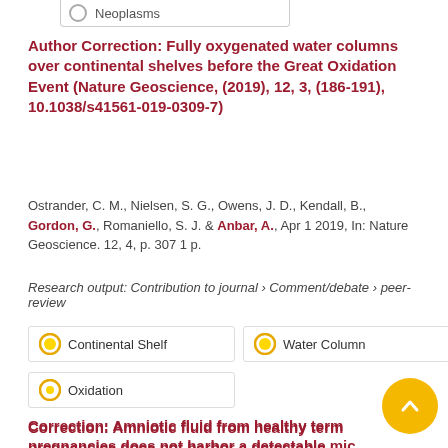Neoplasms
Author Correction: Fully oxygenated water columns over continental shelves before the Great Oxidation Event (Nature Geoscience, (2019), 12, 3, (186-191), 10.1038/s41561-019-0309-7)
Ostrander, C. M., Nielsen, S. G., Owens, J. D., Kendall, B., Gordon, G., Romaniello, S. J. & Anbar, A., Apr 1 2019, In: Nature Geoscience. 12, 4, p. 307 1 p.
Research output: Contribution to journal › Comment/debate › peer-review
Continental Shelf
Water Column
Oxidation
Correction: Amniotic fluid from healthy term pregnancies does not harbor a detectable microbiome community (Microbiome (2018) 6:87 DOI: 10.1186/s40168-018-0475-7)